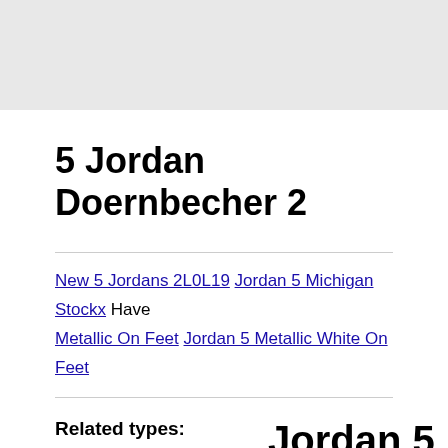5 Jordan Doernbecher 2
New 5 Jordans 2L0L19 Jordan 5 Michigan Stockx Have Metallic On Feet Jordan 5 Metallic White On Feet
Related types:
Air Jordan 5 Wiki
Jordan 5 Doernbecher Freestyle
Jordan Retro 5 Wolf Grey Price
Jordan 5
Release date-2020